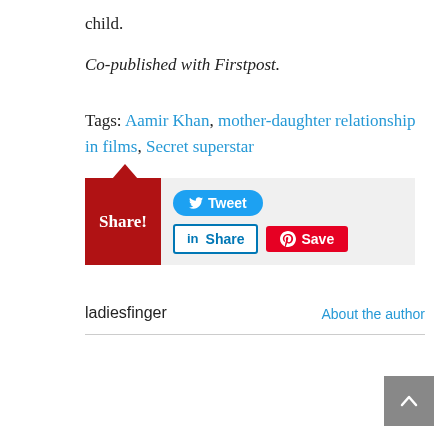child.
Co-published with Firstpost.
Tags: Aamir Khan, mother-daughter relationship in films, Secret superstar
[Figure (other): Share widget with red 'Share!' label and social media buttons: Tweet (Twitter), Share (LinkedIn), Save (Pinterest)]
ladiesfinger   About the author